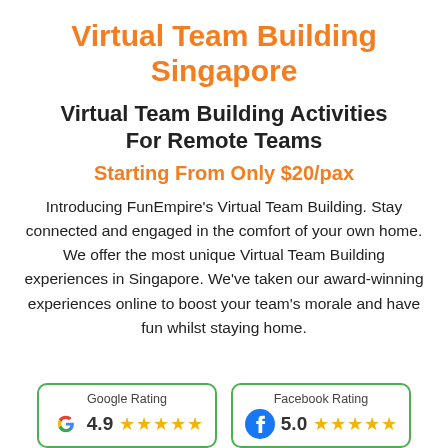Virtual Team Building Singapore
Virtual Team Building Activities For Remote Teams
Starting From Only $20/pax
Introducing FunEmpire's Virtual Team Building. Stay connected and engaged in the comfort of your own home. We offer the most unique Virtual Team Building experiences in Singapore. We've taken our award-winning experiences online to boost your team's morale and have fun whilst staying home.
[Figure (infographic): Google Rating box showing 4.9 stars out of 5 with Google logo and star icons]
[Figure (infographic): Facebook Rating box showing 5.0 stars out of 5 with Facebook logo and star icons]